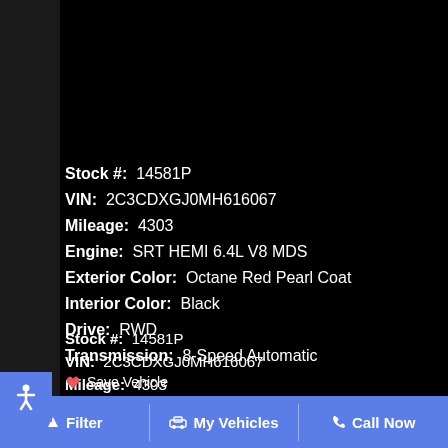All with no impact to your credit score
Estimate financing
[Figure (logo): Capital One logo]
[Figure (logo): SHOW ME THE CARFAX logo with text: View the Free CARFAX Report]
Stock #:  14581P
VIN:  2C3CDXGJ0MH616067
Mileage:  4303
Engine:  SRT HEMI 6.4L V8 MDS
Exterior Color:  Octane Red Pearl Coat
Interior Color:  Black
Drive:  RWD
Transmission:  8-Speed Automatic
Save Vehicle
Filter  My Vehicles  Call Now